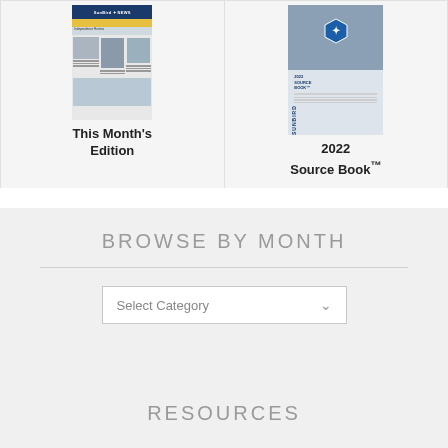[Figure (illustration): Thumbnail of SunBird News newspaper front page]
This Month's Edition
[Figure (illustration): Thumbnail of 2022 Source Book cover with hexagon photo collage]
2022 Source Book™
BROWSE BY MONTH
Select Category
RESOURCES